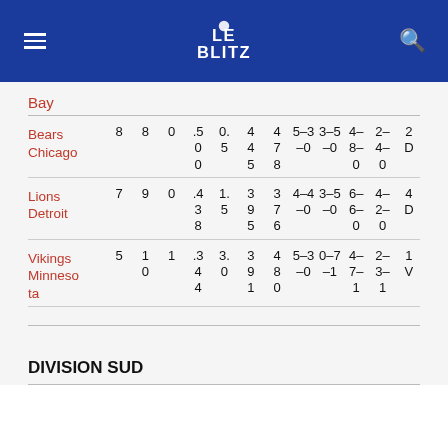Le Blitz
Bay
| Team | W | L | T | PCT | PF | PA | Home | Away | Div | Conf | Streak |
| --- | --- | --- | --- | --- | --- | --- | --- | --- | --- | --- | --- |
| Bears Chicago | 8 | 8 | 0 | .500 | 4 4 5 | 4 7 8 | 5–3 –0 | 3–5 –0 | 4– 8– 0 | 2– 4– 0 | 2 D |
| Lions Detroit | 7 | 9 | 0 | .438 | 3 9 5 | 3 7 6 | 4–4 –0 | 3–5 –0 | 6– 6– 0 | 4– 2– 0 | 4 D |
| Vikings Minnesota | 5 | 10 | 1 | .344 | 3 9 1 | 4 8 0 | 5–3 –0 | 0–7 –1 | 4– 7– 1 | 2– 3– 1 | 1 V |
DIVISION SUD